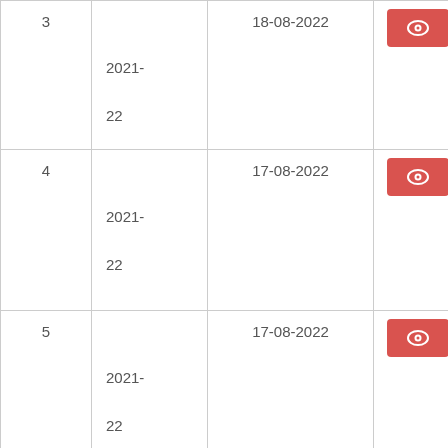| # | Year | Date | View |
| --- | --- | --- | --- |
| 3 | 2021-22 | 18-08-2022 | [eye icon] |
| 4 | 2021-22 | 17-08-2022 | [eye icon] |
| 5 | 2021-22 | 17-08-2022 | [eye icon] |